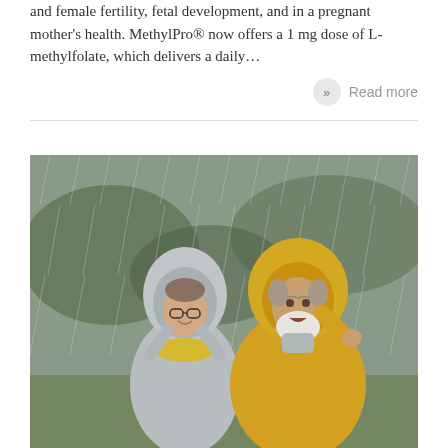and female fertility, fetal development, and in a pregnant mother's health. MethylPro® now offers a 1 mg dose of L-methylfolate, which delivers a daily…
Read more
[Figure (photo): Two elderly people laughing in the rain, wearing raincoats — a woman in a silver/grey hooded raincoat with glasses and a yellow scarf, and a man in a bright yellow hooded raincoat with a white beard, both appear joyful outdoors in a park-like setting]